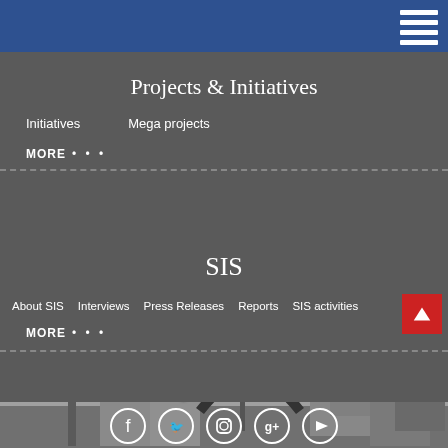Projects & Initiatives
Initiatives
Mega projects
MORE • • •
SIS
About SIS
Interviews
Press Releases
Reports
SIS activities
MORE • • •
[Figure (photo): Grayscale photo of Cairo cityscape featuring a tower/minaret, modern arch structure, palm trees, and Egyptian monuments in the background]
All Rights Reserved SIS.
[Figure (infographic): Social media icons row: Facebook, Twitter, Instagram, Google+, YouTube - all white circle outline icons]